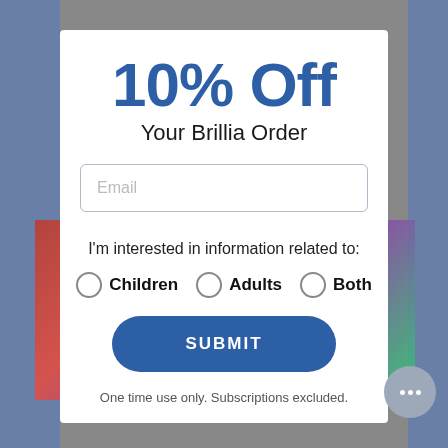[Figure (screenshot): Website popup modal offering 10% off a Brillia order with email signup and interest radio buttons (Children, Adults, Both) and a Submit button]
10% Off
Your Brillia Order
Email
I'm interested in information related to:
Children   Adults   Both
SUBMIT
One time use only. Subscriptions excluded.